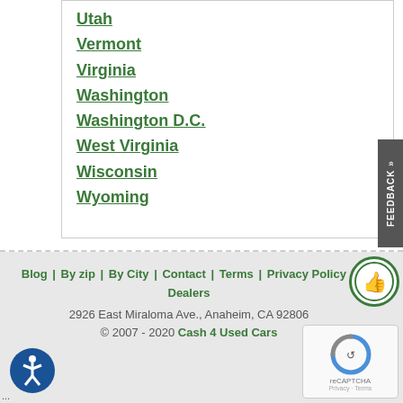Utah
Vermont
Virginia
Washington
Washington D.C.
West Virginia
Wisconsin
Wyoming
Blog | By zip | By City | Contact | Terms | Privacy Policy | Dealers
2926 East Miraloma Ave., Anaheim, CA 92806
© 2007 - 2020 Cash 4 Used Cars